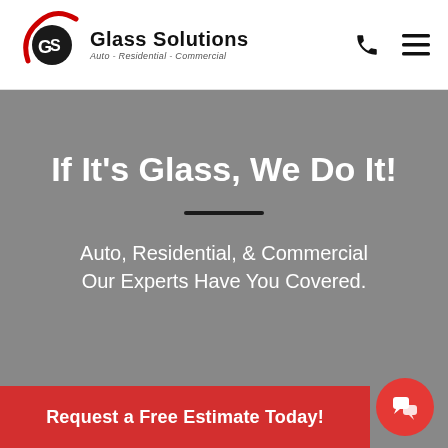[Figure (logo): GS Glass Solutions logo with red swoosh and text 'Glass Solutions Auto - Residential - Commercial']
If It's Glass, We Do It!
Auto, Residential, & Commercial Our Experts Have You Covered.
Request a Free Estimate Today!